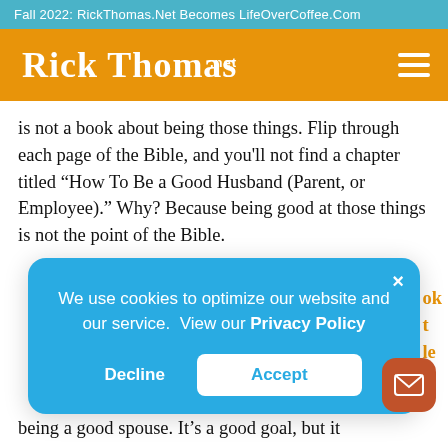Fall 2022: RickThomas.Net Becomes LifeOverCoffee.Com
[Figure (logo): Rick Thomas .net logo in white script on orange background with hamburger menu icon]
is not a book about being those things. Flip through each page of the Bible, and you'll not find a chapter titled “How To Be a Good Husband (Parent, or Employee).” Why? Because being good at those things is not the point of the Bible.
We use cookies to optimize our website and our service. View our Privacy Policy
being a good spouse. It’s a good goal, but it